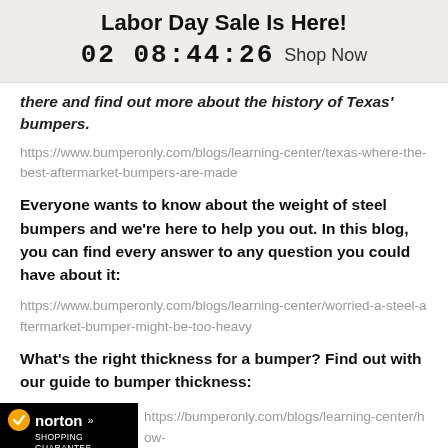Labor Day Sale Is Here!
02 08:44:26  Shop Now
there and find out more about the history of Texas' bumpers.
https://www.bumperonly.com/blogs/learning-center/texas-where-the-best-aftermarket-bumpers-are-made
Everyone wants to know about the weight of steel bumpers and we're here to help you out. In this blog, you can find every answer to any question you could have about it:
https://www.bumperonly.com/blogs/learning-center/worried-a-steel-aftermarket-bumper-might-be-too-heavy
What's the right thickness for a bumper? Find out with our guide to bumper thickness:
https://bumperonly.com/blogs/learning-center/how-...-an-off-road-truck-bumper-be
[Figure (logo): Norton Shopping Guarantee badge, dated 9/2/2022]